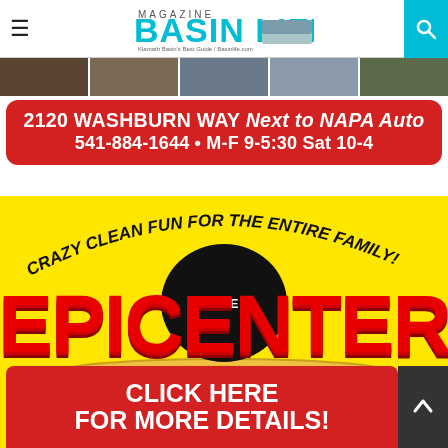Basin Life Magazine — navigation bar with hamburger menu and search icon
[Figure (photo): Horizontal strip of thumbnail photos]
2120 WASHBURN WAY Next to NAPA Auto
541-884-1644 • M-F 9-5:30 Sat 10-4
[Figure (advertisement): The Epicenter Family Entertainment Complex advertisement on yellow background with red CLICK HERE FOR MORE DETAILS button. Text: CRAZY CLEAN FUN FOR THE ENTIRE FAMILY! THE EPICENTER FAMILY ENTERTAINMENT COMPLEX CLICK HERE FOR MORE DETAILS!]